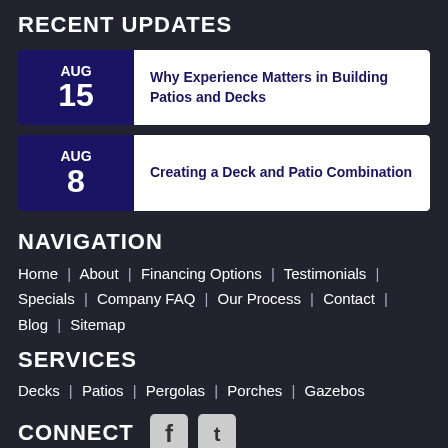RECENT UPDATES
AUG 15 — Why Experience Matters in Building Patios and Decks
AUG 8 — Creating a Deck and Patio Combination
NAVIGATION
Home | About | Financing Options | Testimonials | Specials | Company FAQ | Our Process | Contact | Blog | Sitemap
SERVICES
Decks | Patios | Pergolas | Porches | Gazebos
CONNECT